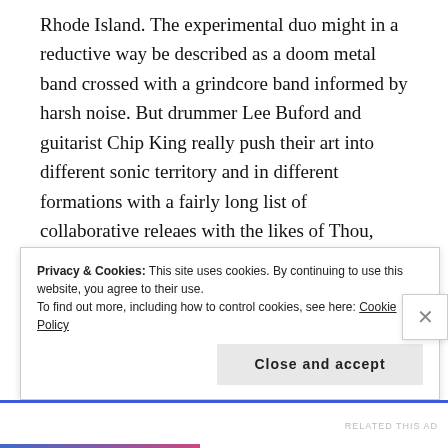Rhode Island. The experimental duo might in a reductive way be described as a doom metal band crossed with a grindcore band informed by harsh noise. But drummer Lee Buford and guitarist Chip King really push their art into different sonic territory and in different formations with a fairly long list of collaborative releaes with the likes of Thou, Full of Hell, Unform, BIG BRAVE, and Krieg to name a few. The 2016 album No One Deserves Happiness was inspired by synth pop music and sounds it while also being one of the heaviest and most raw albums of that year that had an
Privacy & Cookies: This site uses cookies. By continuing to use this website, you agree to their use.
To find out more, including how to control cookies, see here: Cookie Policy
Close and accept